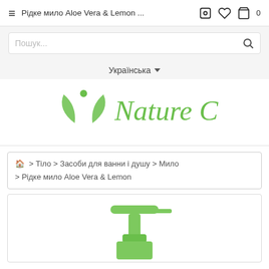≡  Рідке мило Aloe Vera & Lemon ...  🔧  ♡  🛒 0
Пошук...
Українська ▼
[Figure (logo): Nature Care brand logo in green color with leaf/person icon]
🏠 > Тіло > Засоби для ванни і душу > Мило > Рідке мило Aloe Vera & Lemon
[Figure (photo): Green pump dispenser bottle top visible at bottom of page]